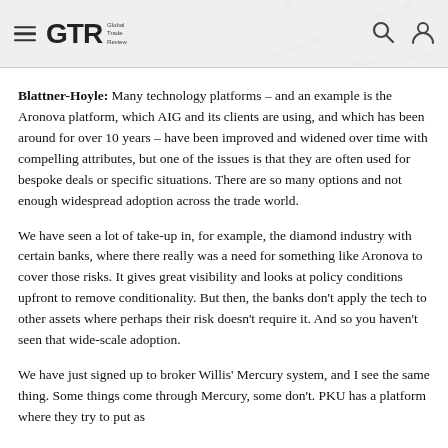GTR Global Trade Review
Blattner-Hoyle: Many technology platforms – and an example is the Aronova platform, which AIG and its clients are using, and which has been around for over 10 years – have been improved and widened over time with compelling attributes, but one of the issues is that they are often used for bespoke deals or specific situations. There are so many options and not enough widespread adoption across the trade world.
We have seen a lot of take-up in, for example, the diamond industry with certain banks, where there really was a need for something like Aronova to cover those risks. It gives great visibility and looks at policy conditions upfront to remove conditionality. But then, the banks don't apply the tech to other assets where perhaps their risk doesn't require it. And so you haven't seen that wide-scale adoption.
We have just signed up to broker Willis' Mercury system, and I see the same thing. Some things come through Mercury, some don't. PKU has a platform where they try to put as